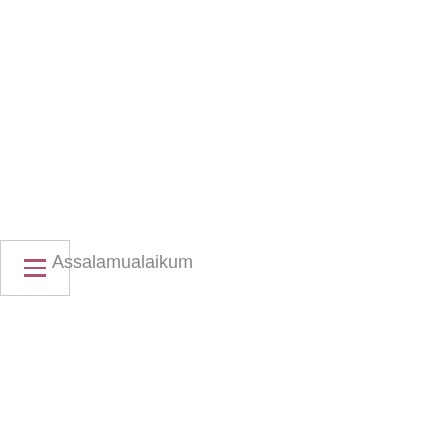[Figure (other): Hamburger menu button with three horizontal lines in dark rose/mauve color, inside a white bordered box]
Assalamualaikum
[Figure (infographic): Infographic on gray textured background titled '5 THINGS TO QUIT RIGHT NOW.' with numbered list items: 1. Trying to please everyone. 2. Fearing change. 3. Living in the past.]